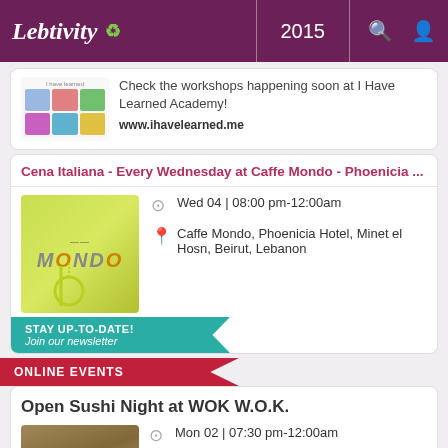Lebtivity 2015
[Figure (screenshot): Partial card showing colorful workshop grid tiles with text about I Have Learned Academy]
Check the workshops happening soon at I Have Learned Academy!
www.ihavelearned.me
Cena Italiana - Every Wednesday at Caffe Mondo - Phoenicia ...
[Figure (logo): Caffe Mondo logo with green spoon/key graphic]
Wed 04 | 08:00 pm-12:00am
Caffe Mondo, Phoenicia Hotel, Minet el Hosn, Beirut, Lebanon
STAY UP-TO-DATE!
Join our newsletter
ONLINE EVENTS
Open Sushi Night at WOK W.O.K.
[Figure (photo): Sushi buffet restaurant photo with OPEN SUSHI label]
Mon 02 | 07:30 pm-12:00am
WOK W.O.K., Phoenicia Hotel, Beirut